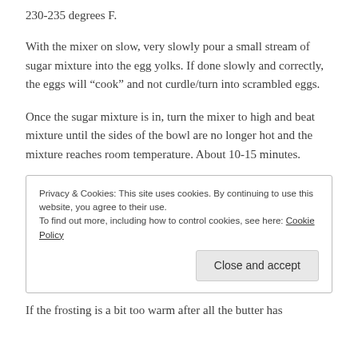230-235 degrees F.
With the mixer on slow, very slowly pour a small stream of sugar mixture into the egg yolks.  If done slowly and correctly, the eggs will “cook” and not curdle/turn into scrambled eggs.
Once the sugar mixture is in, turn the mixer to high and beat mixture until the sides of the bowl are no longer hot and the mixture reaches room temperature.  About 10-15 minutes.
Privacy & Cookies: This site uses cookies. By continuing to use this website, you agree to their use.
To find out more, including how to control cookies, see here: Cookie Policy
Close and accept
If the frosting is a bit too warm after all the butter has